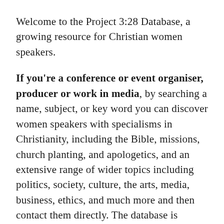Welcome to the Project 3:28 Database, a growing resource for Christian women speakers.
If you're a conference or event organiser, producer or work in media, by searching a name, subject, or key word you can discover women speakers with specialisms in Christianity, including the Bible, missions, church planting, and apologetics, and an extensive range of wider topics including politics, society, culture, the arts, media, business, ethics, and much more and then contact them directly. The database is growing, so please do check back regularly and please get in touch with us with any suggestions or feedback. Please read how to get the best out